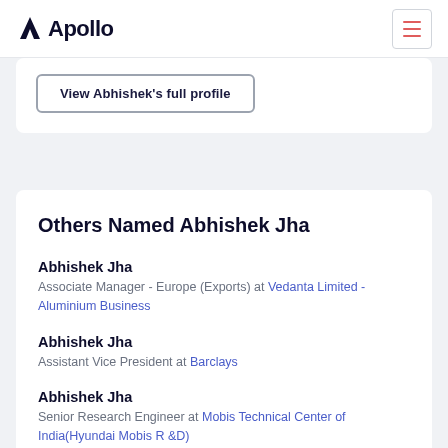Apollo
View Abhishek's full profile
Others Named Abhishek Jha
Abhishek Jha
Associate Manager - Europe (Exports) at Vedanta Limited - Aluminium Business
Abhishek Jha
Assistant Vice President at Barclays
Abhishek Jha
Senior Research Engineer at Mobis Technical Center of India(Hyundai Mobis R &D)